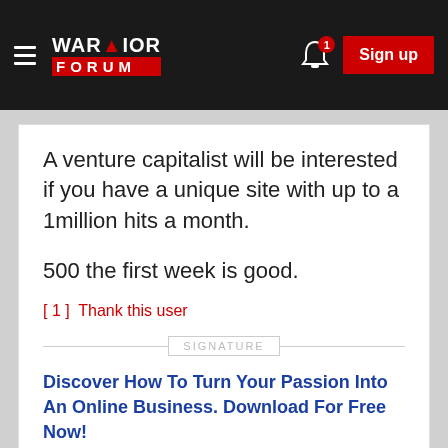WARRIOR FORUM | Sign up
A venture capitalist will be interested if you have a unique site with up to a 1million hits a month.
500 the first week is good.
[ 1 ]  Thank this user
SIGNATURE
Discover How To Turn Your Passion Into An Online Business. Download For Free Now!